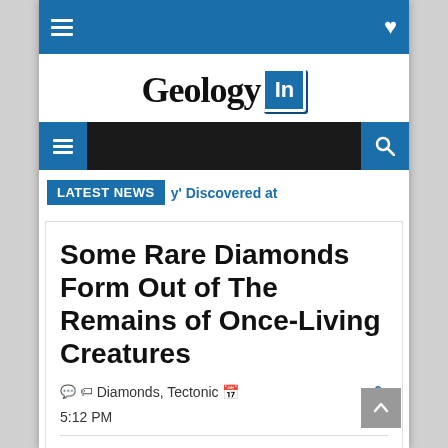Geology In
LATEST NEWS | 'y' Discovered at
Some Rare Diamonds Form Out of The Remains of Once-Living Creatures
Diamonds, Tectonic  5:12 PM